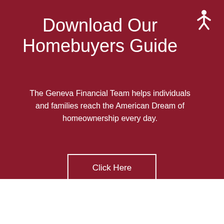Download Our Homebuyers Guide
The Geneva Financial Team helps individuals and families reach the American Dream of homeownership every day.
Click Here